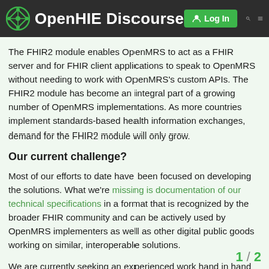OpenHIE Discourse — Log In
The FHIR2 module enables OpenMRS to act as a FHIR server and for FHIR client applications to speak to OpenMRS without needing to work with OpenMRS's custom APIs. The FHIR2 module has become an integral part of a growing number of OpenMRS implementations. As more countries implement standards-based health information exchanges, demand for the FHIR2 module will only grow.
Our current challenge?
Most of our efforts to date have been focused on developing the solutions. What we're missing is documentation of our technical specifications in a format that is recognized by the broader FHIR community and can be actively used by OpenMRS implementers as well as other digital public goods working on similar, interoperable solutions.
We are currently seeking an experienced work hand in hand with our FHIR Squad to
1 / 2